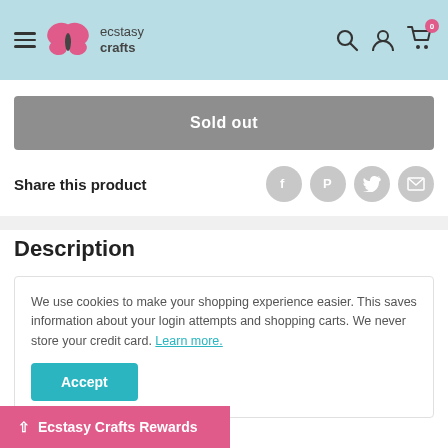ecstasy crafts — navigation header with hamburger menu, logo, search, account, and cart (0 items)
Sold out
Share this product
[Figure (infographic): Four social share icon circles: Facebook (f), Pinterest (P), Twitter bird, Email (envelope)]
Description
We use cookies to make your shopping experience easier. This saves information about your login attempts and shopping carts. We never store your credit card. Learn more.
Accept
^ Ecstasy Crafts Rewards